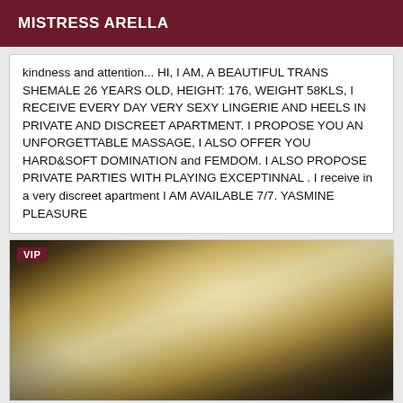MISTRESS ARELLA
kindness and attention... HI, I AM, A BEAUTIFUL TRANS SHEMALE 26 YEARS OLD, HEIGHT: 176, WEIGHT 58KLS, I RECEIVE EVERY DAY VERY SEXY LINGERIE AND HEELS IN PRIVATE AND DISCREET APARTMENT. I PROPOSE YOU AN UNFORGETTABLE MASSAGE, I ALSO OFFER YOU HARD&SOFT DOMINATION and FEMDOM. I ALSO PROPOSE PRIVATE PARTIES WITH PLAYING EXCEPTINNAL . I receive in a very discreet apartment I AM AVAILABLE 7/7. YASMINE PLEASURE
[Figure (photo): Photo of a blonde woman seen from behind, VIP badge in top-left corner]